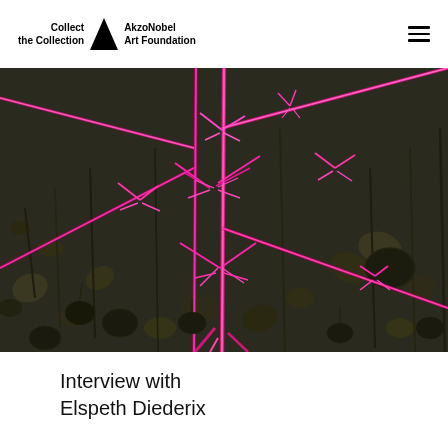Collect the Collection | AkzoNobel Art Foundation
[Figure (photo): Close-up photograph of dried plant stems and seed pods with vivid neon pink/magenta paint or digital coloring applied to the stems and branches, set against a dark, muted background of foliage.]
Interview with Elspeth Diederix